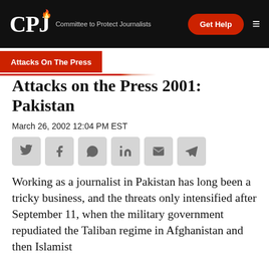CPJ – Committee to Protect Journalists | Get Help
Attacks On The Press
Attacks on the Press 2001: Pakistan
March 26, 2002 12:04 PM EST
Working as a journalist in Pakistan has long been a tricky business, and the threats only intensified after September 11, when the military government repudiated the Taliban regime in Afghanistan and then Islamist